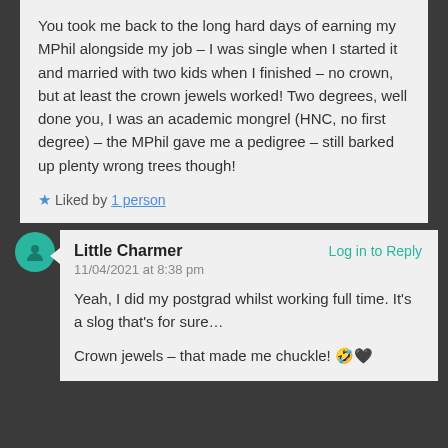You took me back to the long hard days of earning my MPhil alongside my job – I was single when I started it and married with two kids when I finished – no crown, but at least the crown jewels worked! Two degrees, well done you, I was an academic mongrel (HNC, no first degree) – the MPhil gave me a pedigree – still barked up plenty wrong trees though!
Liked by 1 person
Little Charmer
Log in to Reply
11/04/2021 at 8:38 pm
Yeah, I did my postgrad whilst working full time. It's a slog that's for sure…
Crown jewels – that made me chuckle! 🤣🖤